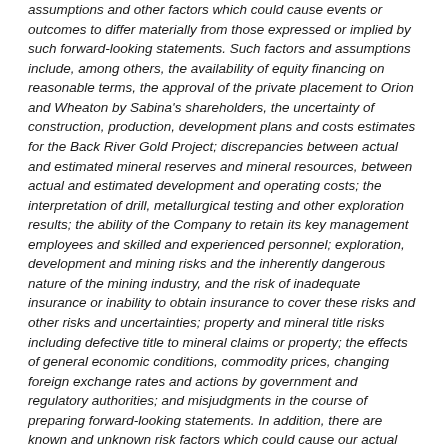assumptions and other factors which could cause events or outcomes to differ materially from those expressed or implied by such forward-looking statements. Such factors and assumptions include, among others, the availability of equity financing on reasonable terms, the approval of the private placement to Orion and Wheaton by Sabina's shareholders, the uncertainty of construction, production, development plans and costs estimates for the Back River Gold Project; discrepancies between actual and estimated mineral reserves and mineral resources, between actual and estimated development and operating costs; the interpretation of drill, metallurgical testing and other exploration results; the ability of the Company to retain its key management employees and skilled and experienced personnel; exploration, development and mining risks and the inherently dangerous nature of the mining industry, and the risk of inadequate insurance or inability to obtain insurance to cover these risks and other risks and uncertainties; property and mineral title risks including defective title to mineral claims or property; the effects of general economic conditions, commodity prices, changing foreign exchange rates and actions by government and regulatory authorities; and misjudgments in the course of preparing forward-looking statements. In addition, there are known and unknown risk factors which could cause our actual results, performance or achievements to differ materially from any